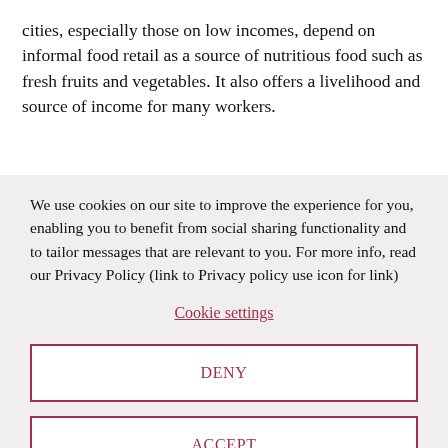cities, especially those on low incomes, depend on informal food retail as a source of nutritious food such as fresh fruits and vegetables. It also offers a livelihood and source of income for many workers.
We use cookies on our site to improve the experience for you, enabling you to benefit from social sharing functionality and to tailor messages that are relevant to you. For more info, read our Privacy Policy (link to Privacy policy use icon for link)
Cookie settings
DENY
ACCEPT